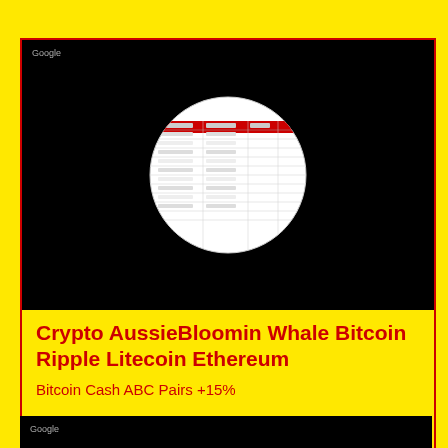[Figure (other): Black background card with a circular pie/donut chart image in the center on dark background, with 'Google' label in top-left corner]
Crypto AussieBloomin Whale Bitcoin Ripple Litecoin Ethereum
Bitcoin Cash ABC Pairs +15%
965 views
no comments
[Figure (other): Black background card bottom section with 'Google' label]